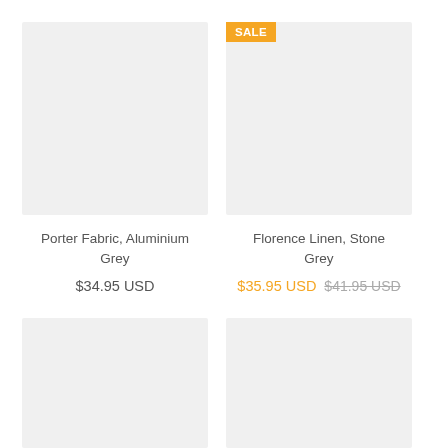[Figure (photo): Product image placeholder for Porter Fabric, Aluminium Grey (light grey rectangle)]
Porter Fabric, Aluminium Grey
$34.95 USD
[Figure (photo): Product image placeholder for Florence Linen, Stone Grey with SALE badge (light grey rectangle)]
Florence Linen, Stone Grey
$35.95 USD  $41.95 USD
[Figure (photo): Product image placeholder bottom-left (light grey rectangle, partially visible)]
[Figure (photo): Product image placeholder bottom-right (light grey rectangle, partially visible)]